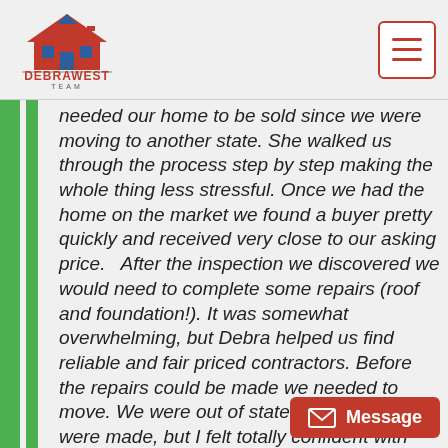The Debra West Team logo and navigation menu
needed our home to be sold since we were moving to another state. She walked us through the process step by step making the whole thing less stressful. Once we had the home on the market we found a buyer pretty quickly and received very close to our asking price.   After the inspection we discovered we would need to complete some repairs (roof and foundation!). It was somewhat overwhelming, but Debra helped us find reliable and fair priced contractors. Before the repairs could be made we needed to move. We were out of state when the repairs were made, but I felt totally confident with Debra overseeing the work and completion of them. She also negotiated with the buyers so that we didn't have to pay much out of pocket. She was always easy to get contact with and always answered my questions